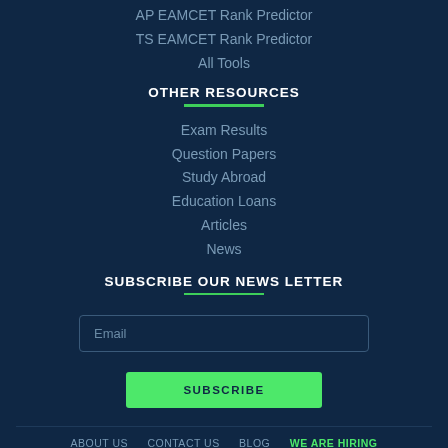AP EAMCET Rank Predictor
TS EAMCET Rank Predictor
All Tools
OTHER RESOURCES
Exam Results
Question Papers
Study Abroad
Education Loans
Articles
News
SUBSCRIBE OUR NEWS LETTER
Email
SUBSCRIBE
ABOUT US  CONTACT US  BLOG  WE ARE HIRING